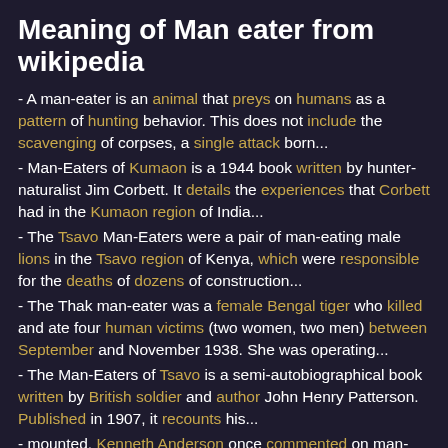Meaning of Man eater from wikipedia
- A man-eater is an animal that preys on humans as a pattern of hunting behavior. This does not include the scavenging of corpses, a single attack born...
- Man-Eaters of Kumaon is a 1944 book written by hunter-naturalist Jim Corbett. It details the experiences that Corbett had in the Kumaon region of India...
- The Tsavo Man-Eaters were a pair of man-eating male lions in the Tsavo region of Kenya, which were responsible for the deaths of dozens of construction...
- The Thak man-eater was a female Bengal tiger who killed and ate four human victims (two women, two men) between September and November 1938. She was operating...
- The Man-Eaters of Tsavo is a semi-autobiographical book written by British soldier and author John Henry Patterson. Published in 1907, it recounts his...
- mounted. Kenneth Anderson once commented on man-eating tigers, It is extraordinary how very cautious every man-eater becomes by practice, whether a tiger or...